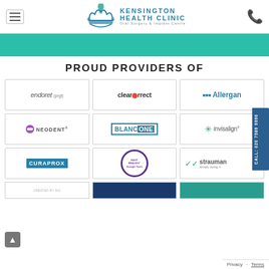[Figure (logo): Kensington Health Clinic - Oral Surgery & Implant Centre logo with crown icon]
[Figure (illustration): Teal/green decorative banner strip]
PROUD PROVIDERS OF
[Figure (logo): endoret (prgf) logo]
[Figure (logo): clearcorrect logo]
[Figure (logo): Allergan logo]
[Figure (logo): Neodent logo]
[Figure (logo): BlanCONE logo]
[Figure (logo): invisalign logo]
[Figure (logo): CURAPROX logo]
[Figure (logo): Eastbraces Straight Teeth logo]
[Figure (logo): Straumann simply doing more logo]
CALL: 020 7589 9990
Privacy · Terms